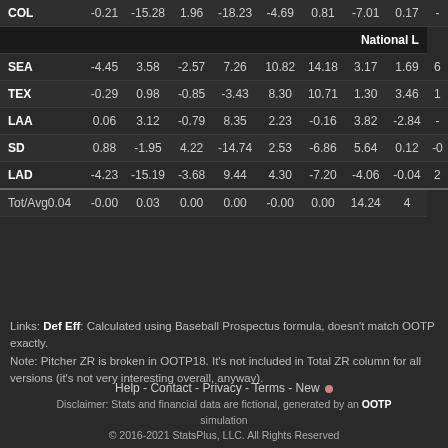| Team | Col1 | Col2 | Col3 | Col4 | Col5 | Col6 | Col7 | Col8 | ... |
| --- | --- | --- | --- | --- | --- | --- | --- | --- | --- |
| COL | -0.21 | -15.28 | 1.96 | -18.23 | -4.69 | 0.81 | -7.01 | 0.17 | - |
| National L |  |  |  |  |  |  |  |  |  |
| SEA | -4.45 | 3.58 | -2.57 | 7.26 | 10.82 | 14.18 | 3.17 | 1.69 | 6 |
| TEX | -0.29 | 0.98 | -0.85 | -3.43 | 8.30 | 10.71 | 1.30 | 3.46 | 1 |
| LAA | 0.06 | 3.12 | -0.79 | 8.35 | 2.23 | -0.16 | 3.82 | -2.84 | - |
| SD | 0.88 | -1.95 | 4.22 | -14.74 | 2.53 | -6.86 | 5.64 | 0.12 | -0 |
| LAD | -4.23 | -15.19 | -3.68 | 9.44 | 4.30 | -7.20 | -4.06 | -0.04 | 2 |
| Tot/Avg | 0.04 | -0.00 | 0.03 | 0.00 | 0.00 | -0.00 | 0.00 | 14.24 | 4 |
Links: Def Eff: Calculated using Baseball Prospectus formula, doesn't match OOTP exactly.
Note: Pitcher ZR is broken in OOTP18. It's not included in Total ZR column for all versions (it's not very interesting overall, anyway).
Help - Contact - Privacy - Terms - New • Disclaimer: Stats and financial data are fictional, generated by an OOTP simulation © 2016-2021 StatsPlus, LLC. All Rights Reserved